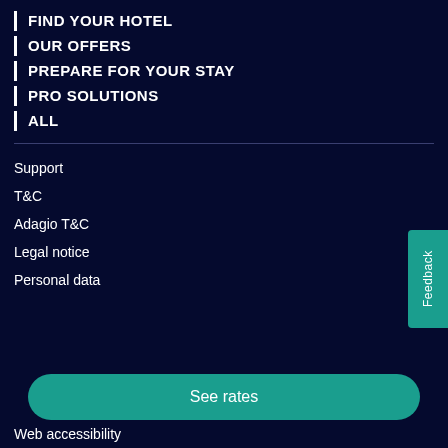FIND YOUR HOTEL
OUR OFFERS
PREPARE FOR YOUR STAY
PRO SOLUTIONS
ALL
Support
T&C
Adagio T&C
Legal notice
Personal data
See rates
Web accessibility
Feedback